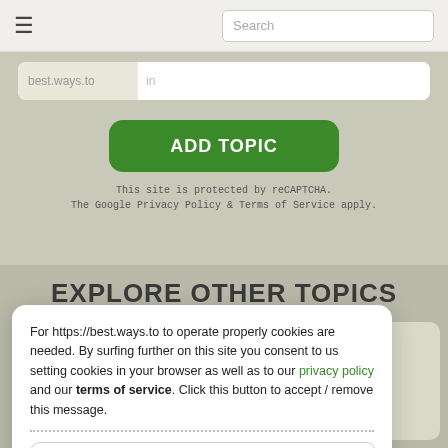☰   Search
[Figure (screenshot): Input bar with two fields: 'best.ways.to' on left and an empty field on right]
ADD TOPIC
This site is protected by reCAPTCHA.
The Google Privacy Policy & Terms of Service apply.
EXPLORE OTHER TOPICS
SWERS
Thaw fish
For https://best.ways.to to operate properly cookies are needed. By surfing further on this site you consent to us setting cookies in your browser as well as to our privacy policy and our terms of service. Click this button to accept / remove this message.
ACCEPT